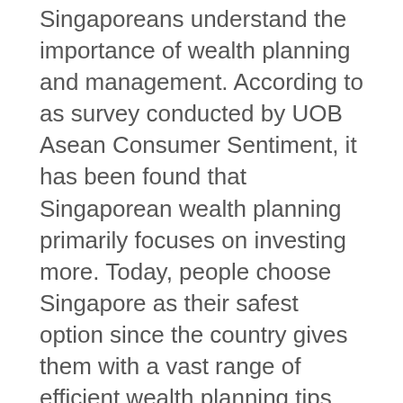Singaporeans understand the importance of wealth planning and management. According to as survey conducted by UOB Asean Consumer Sentiment, it has been found that Singaporean wealth planning primarily focuses on investing more. Today, people choose Singapore as their safest option since the country gives them with a vast range of efficient wealth planning tips. This helps people plan their finances and achieve their future goals without much financial stress
Wealth planning is more than just planning to increase one's wealth. In order to be able to plan finances one needs to find an efficient way of wealth management. It is also inclusive of protecting one's wealth in such a manner that it helps one with their future financial goals. The income levels of each individual or each family differs with that on another, hence, it's impossible to have a uniform method of wealth planning in Singapore. Therefore, the government...